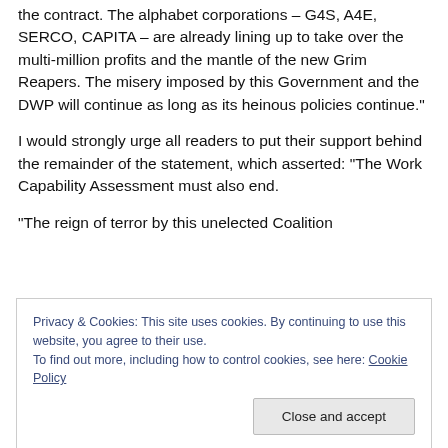the contract. The alphabet corporations – G4S, A4E, SERCO, CAPITA – are already lining up to take over the multi-million profits and the mantle of the new Grim Reapers. The misery imposed by this Government and the DWP will continue as long as its heinous policies continue."
I would strongly urge all readers to put their support behind the remainder of the statement, which asserted: "The Work Capability Assessment must also end.
"The reign of terror by this unelected Coalition
Privacy & Cookies: This site uses cookies. By continuing to use this website, you agree to their use.
To find out more, including how to control cookies, see here: Cookie Policy
Close and accept